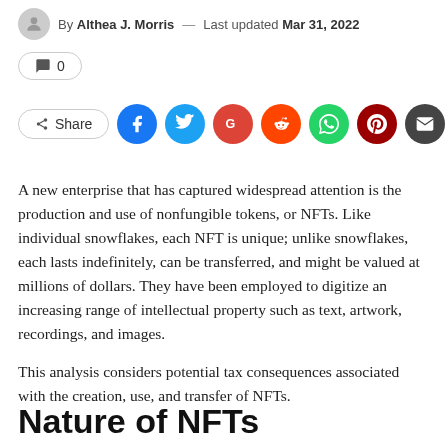By Althea J. Morris — Last updated Mar 31, 2022
💬 0
Share (social icons: Facebook, Twitter, Google, Reddit, WhatsApp, Pinterest, Email)
A new enterprise that has captured widespread attention is the production and use of nonfungible tokens, or NFTs. Like individual snowflakes, each NFT is unique; unlike snowflakes, each lasts indefinitely, can be transferred, and might be valued at millions of dollars. They have been employed to digitize an increasing range of intellectual property such as text, artwork, recordings, and images.
This analysis considers potential tax consequences associated with the creation, use, and transfer of NFTs.
Nature of NFTs